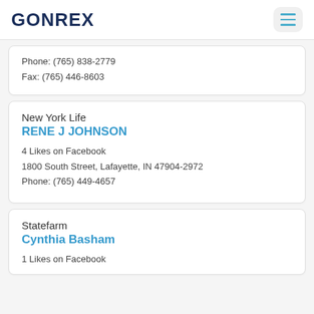GONREX
Phone: (765) 838-2779
Fax: (765) 446-8603
New York Life
RENE J JOHNSON
4 Likes on Facebook
1800 South Street, Lafayette, IN 47904-2972
Phone: (765) 449-4657
Statefarm
Cynthia Basham
1 Likes on Facebook